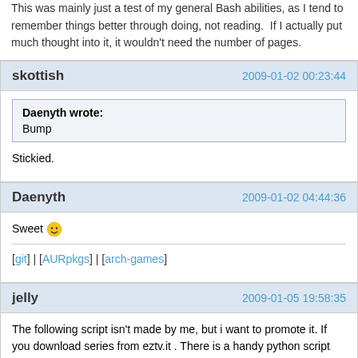This was mainly just a test of my general bash abilities, as I tend to remember things better through doing, not reading. If I actually put much thought into it, it wouldn't need the number of pages.
skottish — 2009-01-02 00:23:44
Daenyth wrote: Bump
Stickied.
Daenyth — 2009-01-02 04:44:36
Sweet 😀
[git] | [AURpkgs] | [arch-games]
jelly — 2009-01-05 19:58:35
The following script isn't made by me, but i want to promote it. If you download series from eztv.it . There is a handy python script pytvshows in AUR. That downloads new *.torrent files of new episodes of your